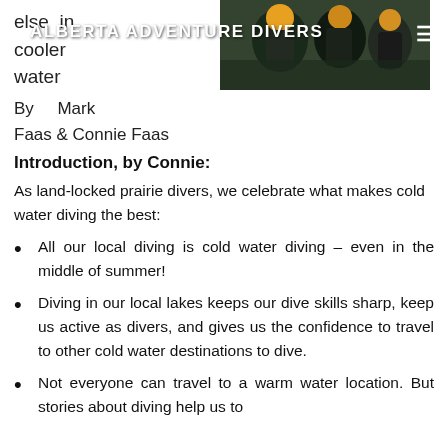[Figure (photo): Header photo of scuba divers in dark wetsuits with diving equipment, with 'ALBERTA ADVENTURE DIVERS' title overlay and hamburger menu icon]
else in cooler water
By    Mark Faas & Connie Faas
Introduction, by Connie:
As land-locked prairie divers, we celebrate what makes cold water diving the best:
All our local diving is cold water diving – even in the middle of summer!
Diving in our local lakes keeps our dive skills sharp, keep us active as divers, and gives us the confidence to travel to other cold water destinations to dive.
Not everyone can travel to a warm water location. But stories about diving help us to...